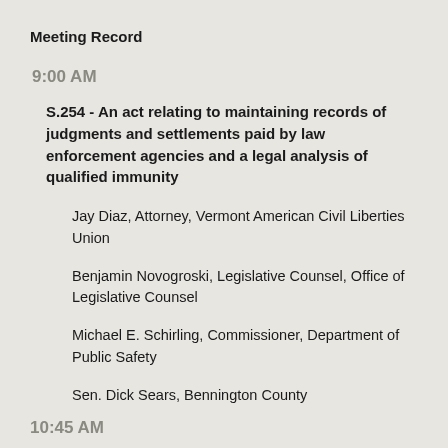Meeting Record
9:00 AM
S.254 - An act relating to maintaining records of judgments and settlements paid by law enforcement agencies and a legal analysis of qualified immunity
Jay Diaz, Attorney, Vermont American Civil Liberties Union
Benjamin Novogroski, Legislative Counsel, Office of Legislative Counsel
Michael E. Schirling, Commissioner, Department of Public Safety
Sen. Dick Sears, Bennington County
10:45 AM